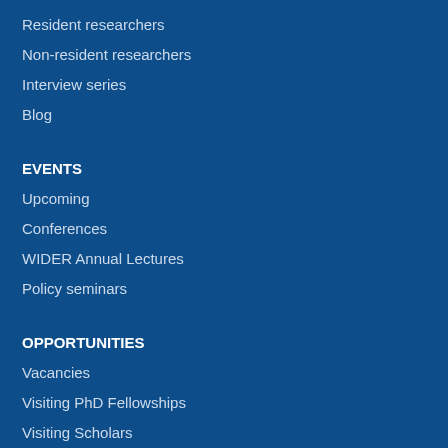Resident researchers
Non-resident researchers
Interview series
Blog
EVENTS
Upcoming
Conferences
WIDER Annual Lectures
Policy seminars
OPPORTUNITIES
Vacancies
Visiting PhD Fellowships
Visiting Scholars
Procurement
Collaboration
ABOUT